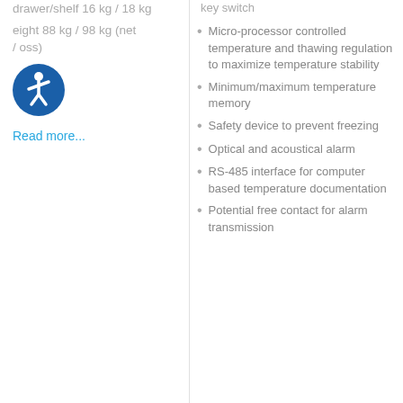drawer/shelf 16 kg / 18 kg
Weight 88 kg / 98 kg (net / gross)
[Figure (illustration): Accessibility icon — blue circle with white wheelchair/person figure]
Read more...
key switch
Micro-processor controlled temperature and thawing regulation to maximize temperature stability
Minimum/maximum temperature memory
Safety device to prevent freezing
Optical and acoustical alarm
RS-485 interface for computer based temperature documentation
Potential free contact for alarm transmission